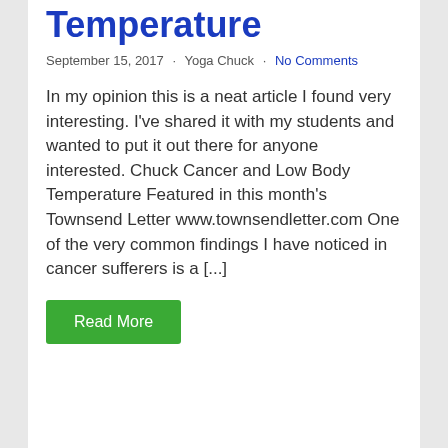Temperature
September 15, 2017 · Yoga Chuck · No Comments
In my opinion this is a neat article I found very interesting. I've shared it with my students and wanted to put it out there for anyone interested. Chuck Cancer and Low Body Temperature Featured in this month's Townsend Letter www.townsendletter.com One of the very common findings I have noticed in cancer sufferers is a [...]
Read More